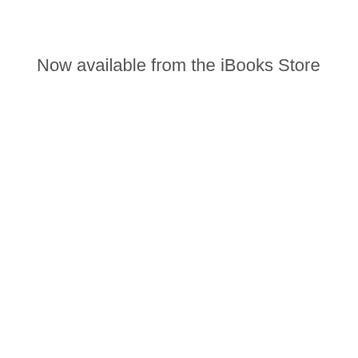Now available from the iBooks Store